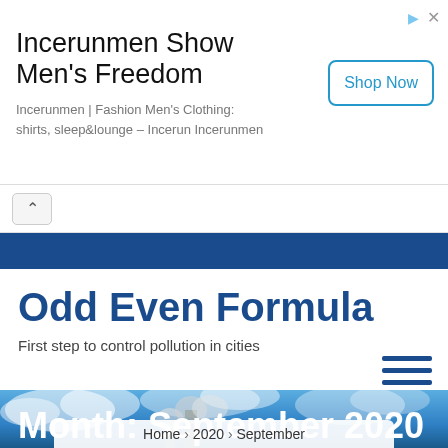[Figure (other): Advertisement banner for Incerunmen with Shop Now button]
Odd Even Formula
First step to control pollution in cities
[Figure (other): Hero image showing industrial smokestacks against blue sky with clouds. Text overlay: Month: September 2020]
Home › 2020 › September